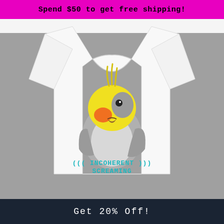Spend $50 to get free shipping!
[Figure (photo): A white women's t-shirt displayed on a gray background. The shirt features a cartoon cockatiel bird with a yellow head, gray body, and orange cheek patches, mouth open as if screaming. Below the bird is text that reads '((( INCOHERENT SCREAMING )))' in a teal/blue pixel-style font.]
Get 20% Off!